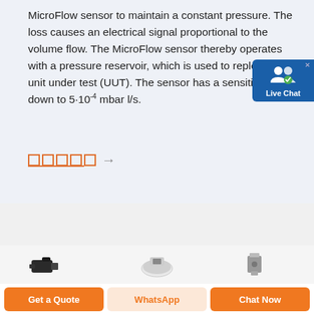MicroFlow sensor to maintain a constant pressure. The loss causes an electrical signal proportional to the volume flow. The MicroFlow sensor thereby operates with a pressure reservoir, which is used to replenish the unit under test (UUT). The sensor has a sensitivity of down to 5·10⁻⁴ mbar l/s.
[Figure (other): Navigation pagination squares (5 orange outline squares) followed by a right arrow, with orange underline beneath]
[Figure (photo): Product images partially visible at bottom: dark connector on left, white circular sensor in center, grey metal component on right]
[Figure (other): Live Chat popup widget with blue background, white people icon, and 'Live Chat' label]